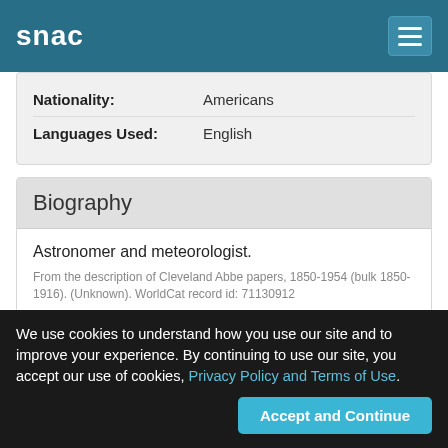snac
| Nationality: | Americans |
| Languages Used: | English |
Biography
Astronomer and meteorologist.
From the description of Cleveland Abbe papers, 1850-1954 (bulk 1850-1916). (Unknown). WorldCat record id: 71130912
Meteorologist.
From the description of Cleveland Abbe papers, 1892-1906. (Historical Society of Washington, Dc). WorldCat record id: 70939748
We use cookies to understand how you use our site and to improve your experience. By continuing to use our site, you accept our use of cookies, Privacy Policy and Terms of Use.